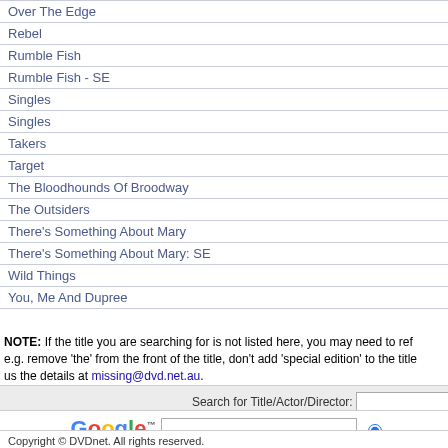| Title |
| --- |
| Over The Edge |
| Rebel |
| Rumble Fish |
| Rumble Fish - SE |
| Singles |
| Singles |
| Takers |
| Target |
| The Bloodhounds Of Broodway |
| The Outsiders |
| There's Something About Mary |
| There's Something About Mary: SE |
| Wild Things |
| You, Me And Dupree |
NOTE: If the title you are searching for is not listed here, you may need to reformat your search, e.g. remove 'the' from the front of the title, don't add 'special edition' to the title etc. Or send us the details at missing@dvd.net.au.
Copyright © DVDnet. All rights reserved.